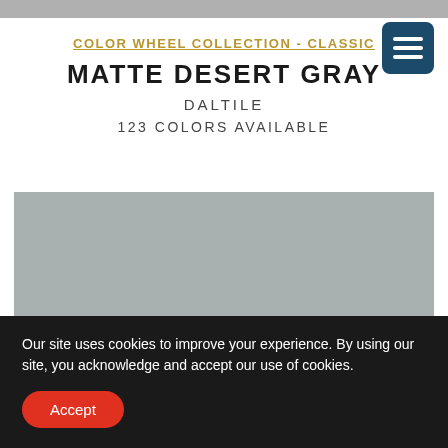COLOR WHEEL COLLECTION - CLASSIC
MATTE DESERT GRAY
DALTILE
123 COLORS AVAILABLE
[Figure (photo): Matte desert gray tile swatch — flat muted gray surface]
Our site uses cookies to improve your experience. By using our site, you acknowledge and accept our use of cookies.
Accept